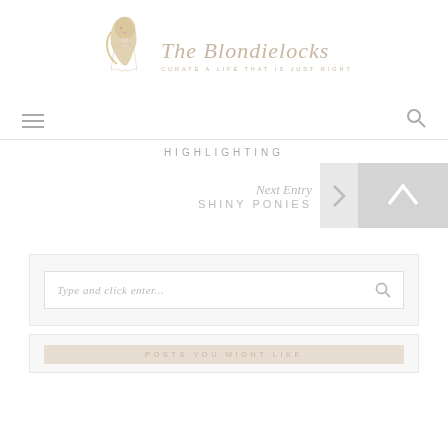[Figure (logo): The Blondielocks blog logo with illustrated blonde woman and cursive text 'The Blondielocks' with tagline 'CURATE A LIFE THAT IS JUST RIGHT']
Navigation bar with hamburger menu and search icon
HIGHLIGHTING
Next Entry SHINY PONIES
Type and click enter...
POSTS YOU MIGHT LIKE